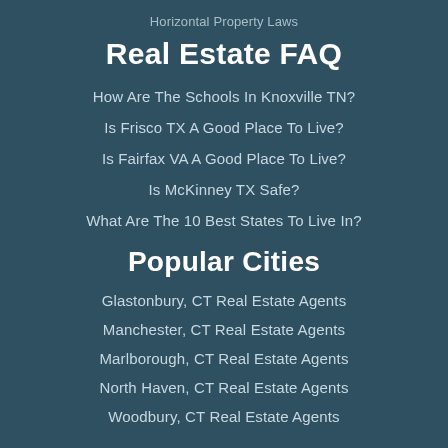Horizontal Property Laws
Real Estate FAQ
How Are The Schools In Knoxville TN?
Is Frisco TX A Good Place To Live?
Is Fairfax VA A Good Place To Live?
Is McKinney TX Safe?
What Are The 10 Best States To Live In?
Popular Cities
Glastonbury, CT Real Estate Agents
Manchester, CT Real Estate Agents
Marlborough, CT Real Estate Agents
North Haven, CT Real Estate Agents
Woodbury, CT Real Estate Agents